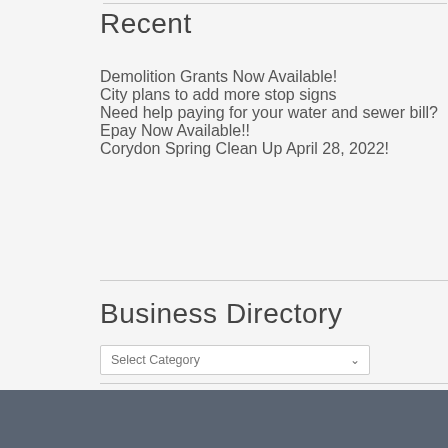Recent
Demolition Grants Now Available!
City plans to add more stop signs
Need help paying for your water and sewer bill?
Epay Now Available!!
Corydon Spring Clean Up April 28, 2022!
Business Directory
Select Category